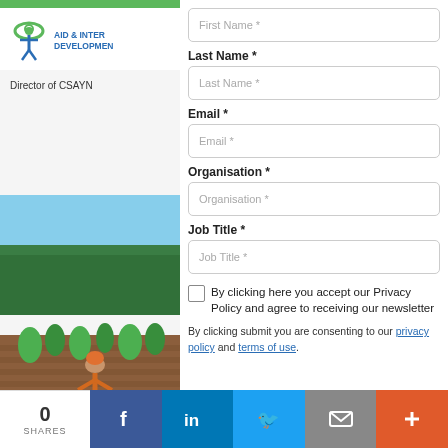[Figure (logo): Aid & International Development logo with green eye/person icon and blue text]
Director of CSAYN
[Figure (photo): Photo of a person working in a crop field with green plants and trees in background]
First Name *
Last Name *
Last Name *
Email *
Email *
Organisation *
Organisation *
Job Title *
Job Title *
By clicking here you accept our Privacy Policy and agree to receiving our newsletter
By clicking submit you are consenting to our privacy policy and terms of use.
0 SHARES